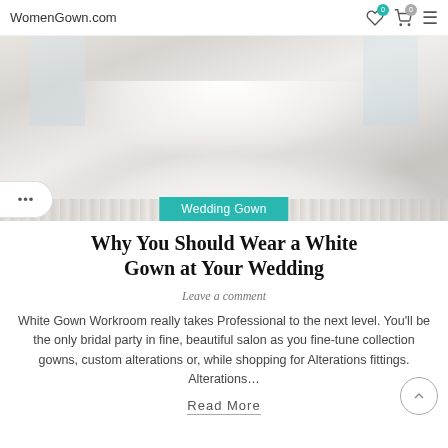WomenGown.com
[Figure (photo): Wedding gown photo showing a large white ball gown with lace trim spread across the floor, with windows in the background. A teal 'Wedding Gown' badge is overlaid at the bottom center.]
Why You Should Wear a White Gown at Your Wedding
Leave a comment
White Gown Workroom really takes Professional to the next level. You'll be the only bridal party in fine, beautiful salon as you fine-tune collection gowns, custom alterations or, while shopping for Alterations fittings. Alterations…
Read More